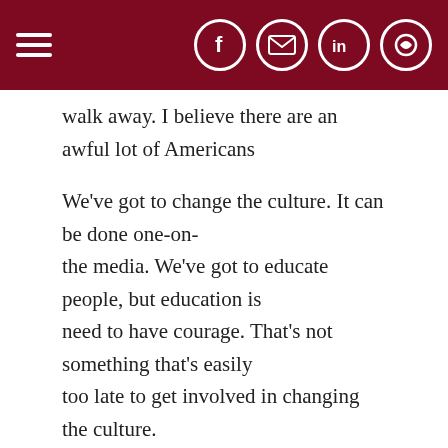[Navigation bar with hamburger menu and social icons: Facebook, Email, LinkedIn, RSS]
walk away. I believe there are an awful lot of Americans
We've got to change the culture. It can be done one-on- the media. We've got to educate people, but education is need to have courage. That's not something that's easily too late to get involved in changing the culture.
Give us a teaser for this new book that you have been
The book will be called The Joy of Catholicism, but it won't 2015. I'm working on the fourth of 10 chapters now. The Everybody wants the three Hs — health, happiness and from the medical establishment overwhelmingly shows